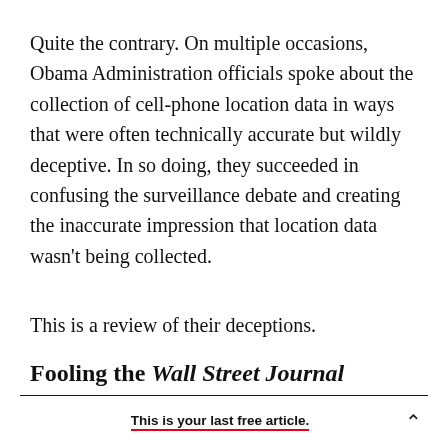Quite the contrary. On multiple occasions, Obama Administration officials spoke about the collection of cell-phone location data in ways that were often technically accurate but wildly deceptive. In so doing, they succeeded in confusing the surveillance debate and creating the inaccurate impression that location data wasn't being collected.
This is a review of their deceptions.
Fooling the Wall Street Journal
This is your last free article.